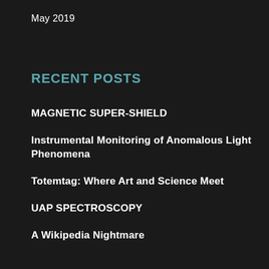May 2019
RECENT POSTS
MAGNETIC SUPER-SHIELD
Instrumental Monitoring of Anomalous Light Phenomena
Totemtag: Where Art and Science Meet
UAP SPECTROSCOPY
A Wikipedia Nightmare